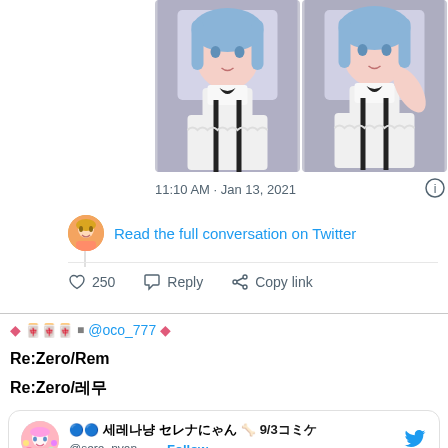[Figure (photo): Two side-by-side photos of a cosplayer dressed as Rem from Re:Zero, wearing white maid outfit with black bows and blue hair]
11:10 AM · Jan 13, 2021
Read the full conversation on Twitter
250  Reply  Copy link
◆🀄🀄🀄■ @oco_777◆
Re:Zero/Rem
Re:Zero/레무
🔵🔵 세레나냥 セレナにゃん 🦴 9/3コミケ @sere_nyan__ · Follow